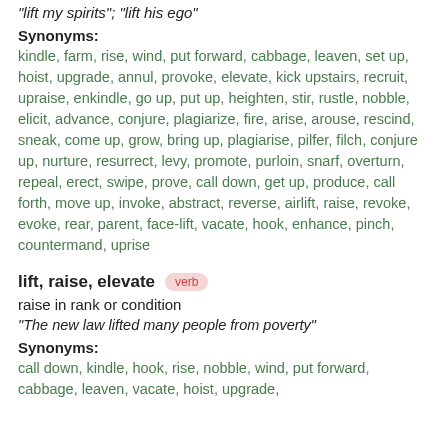"lift my spirits"; "lift his ego"
Synonyms:
kindle, farm, rise, wind, put forward, cabbage, leaven, set up, hoist, upgrade, annul, provoke, elevate, kick upstairs, recruit, upraise, enkindle, go up, put up, heighten, stir, rustle, nobble, elicit, advance, conjure, plagiarize, fire, arise, arouse, rescind, sneak, come up, grow, bring up, plagiarise, pilfer, filch, conjure up, nurture, resurrect, levy, promote, purloin, snarf, overturn, repeal, erect, swipe, prove, call down, get up, produce, call forth, move up, invoke, abstract, reverse, airlift, raise, revoke, evoke, rear, parent, face-lift, vacate, hook, enhance, pinch, countermand, uprise
lift, raise, elevate verb
raise in rank or condition
"The new law lifted many people from poverty"
Synonyms:
call down, kindle, hook, rise, nobble, wind, put forward, cabbage, leaven, vacate, hoist, upgrade,